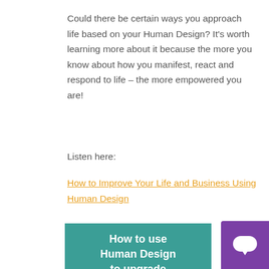Could there be certain ways you approach life based on your Human Design? It's worth learning more about it because the more you know about how you manifest, react and respond to life – the more empowered you are!
Listen here:
How to Improve Your Life and Business Using Human Design
[Figure (infographic): Teal/green promotional image with white bold text reading 'How to use Human Design to upgrade' and a purple banner at the bottom reading 'YOUR BUSINESS']